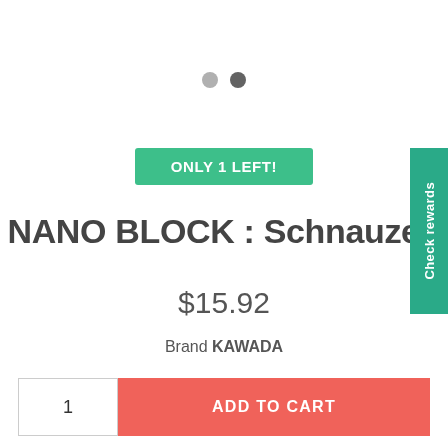[Figure (other): Two pagination dots: one light gray, one dark gray]
ONLY 1 LEFT!
NANO BLOCK : Schnauzer
$15.92
Brand KAWADA
1
ADD TO CART
Check rewards